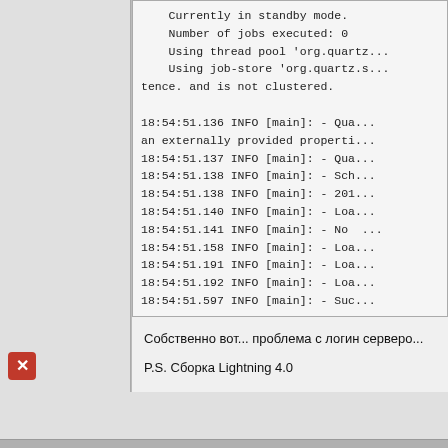Currently in standby mode.
    Number of jobs executed: 0
    Using thread pool 'org.quartz...
    Using job-store 'org.quartz.s...
tence. and is not clustered.

18:54:51.136 INFO [main]: - Qua...
an externally provided properti...
18:54:51.137 INFO [main]: - Qua...
18:54:51.138 INFO [main]: - Sch...
18:54:51.138 INFO [main]: - 201...
18:54:51.140 INFO [main]: - Loa...
18:54:51.141 INFO [main]: - No ...
18:54:51.158 INFO [main]: - Loa...
18:54:51.191 INFO [main]: - Loa...
18:54:51.192 INFO [main]: - Loa...
18:54:51.597 INFO [main]: - Suc...
Собственно вот... проблема с логин серверо...
P.S. Сборка Lightning 4.0